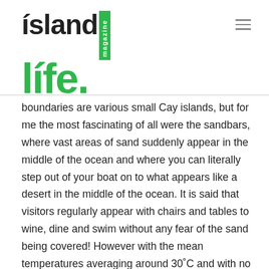[Figure (logo): Island Life Magazine logo — 'island' in dark text, 'life.' in green, with a vertical green box reading 'magazine']
boundaries are various small Cay islands, but for me the most fascinating of all were the sandbars, where vast areas of sand suddenly appear in the middle of the ocean and where you can literally step out of your boat on to what appears like a desert in the middle of the ocean. It is said that visitors regularly appear with chairs and tables to wine, dine and swim without any fear of the sand being covered! However with the mean temperatures averaging around 30˚C and with no shelter, it was a hot bed for sunburn.